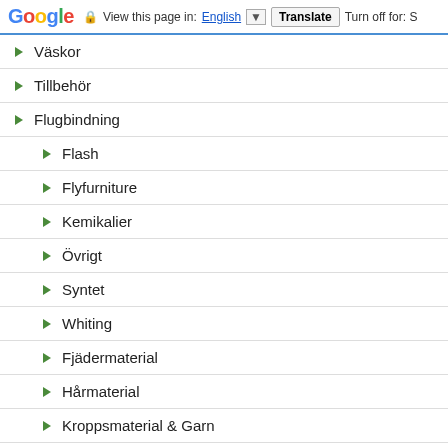Google | View this page in: English | Translate | Turn off for: S
Väskor
Tillbehör
Flugbindning
Flash
Flyfurniture
Kemikalier
Övrigt
Syntet
Whiting
Fjädermaterial
Hårmaterial
Kroppsmaterial & Garn
Dubbingmaterial
Ögon-Kropp-Förtyngning & Tubmaterial